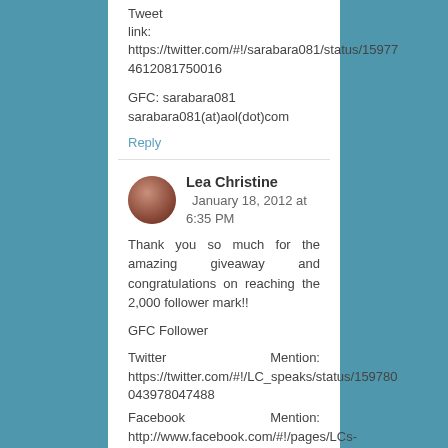Tweet link: https://twitter.com/#!/sarabara081/status/159774612081750016
GFC: sarabara081
sarabara081(at)aol(dot)com
Reply
Lea Christine  January 18, 2012 at 6:35 PM
Thank you so much for the amazing giveaway and congratulations on reaching the 2,000 follower mark!!
GFC Follower
Twitter Mention: https://twitter.com/#!/LC_speaks/status/159780043978047488
Facebook Mention: http://www.facebook.com/#!/pages/LCs-Adventures-in-Libraryland/259079864133395